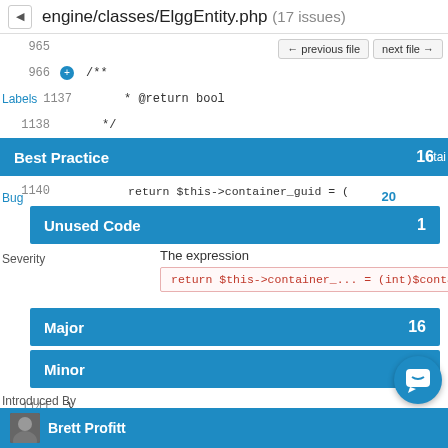engine/classes/ElggEntity.php (17 issues)
[Figure (screenshot): Code viewer showing PHP file engine/classes/ElggEntity.php with line numbers 965, 966, Labels/1137, 1138, 1140, 1141, 1142. Overlaid panels show issue categories: Best Practice (16), Unused Code (1), Bug (20), with severity filters Major (16) and Minor (1). An expression panel shows 'return $this->container_... = (int)$container_gui'. Footer shows 'Introduced By Brett Profitt'.]
Brett Profitt